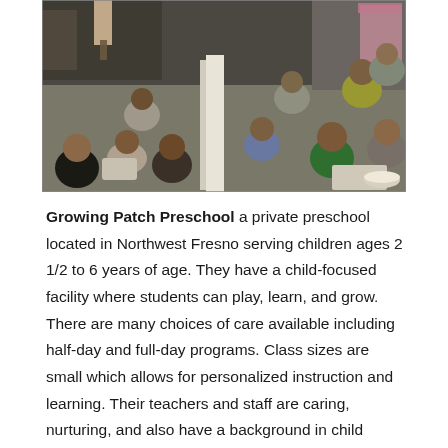[Figure (photo): A classroom photo showing many young children sitting on the floor in a preschool/daycare setting. A teacher is standing on the left. There is a white bookshelf divider in the center. Children are scattered around the room on a carpeted floor with natural light.]
Growing Patch Preschool a private preschool located in Northwest Fresno serving children ages 2 1/2 to 6 years of age. They have a child-focused facility where students can play, learn, and grow. There are many choices of care available including half-day and full-day programs. Class sizes are small which allows for personalized instruction and learning. Their teachers and staff are caring, nurturing, and also have a background in child development.